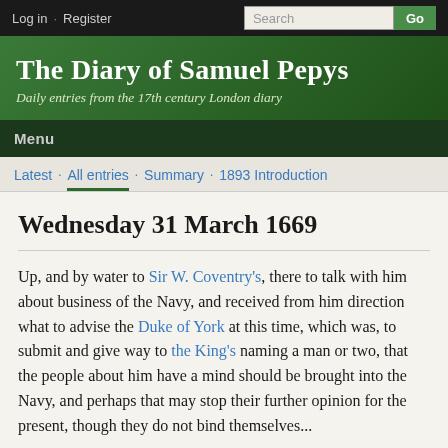Log in · Register   Search  Go
The Diary of Samuel Pepys
Daily entries from the 17th century London diary
Menu
Latest · All entries · Summary · 1893 Introduction
Wednesday 31 March 1669
Up, and by water to Sir W. Coventry's, there to talk with him about business of the Navy, and received from him direction what to advise the Duke of York at this time, which was, to submit and give way to the King's naming a man or two, that the people about him have a mind should be brought into the Navy, and perhaps that may stop their further opposition for the present, though they do not bind themselves...